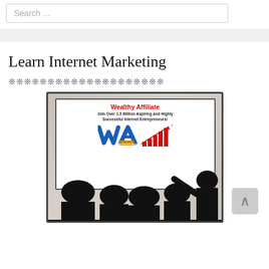Search ...
Learn Internet Marketing
❊❊❊❊❊❊❊❊❊❊❊❊❊❊❊❊❊❊❊❊
[Figure (photo): Wealthy Affiliate promotional image showing a screen with 'Wealthy Affiliate - Join Over 1.3 Million Aspiring and Highly Successful Internet Entrepreneurs!' with WA logo and a growth chart, with silhouettes of people in the foreground watching the presentation.]